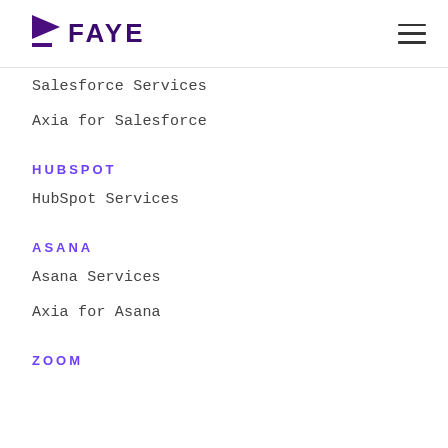FAYE
Salesforce Services
Axia for Salesforce
HUBSPOT
HubSpot Services
ASANA
Asana Services
Axia for Asana
ZOOM